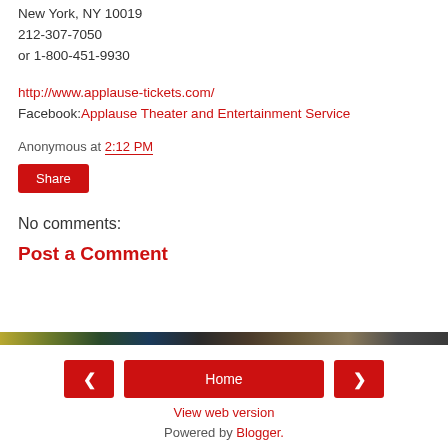New York, NY 10019
212-307-7050
or 1-800-451-9930
http://www.applause-tickets.com/
Facebook: Applause Theater and Entertainment Service
Anonymous at 2:12 PM
Share
No comments:
Post a Comment
[Figure (other): Decorative banner bar with gradient colors]
< Home >
View web version
Powered by Blogger.